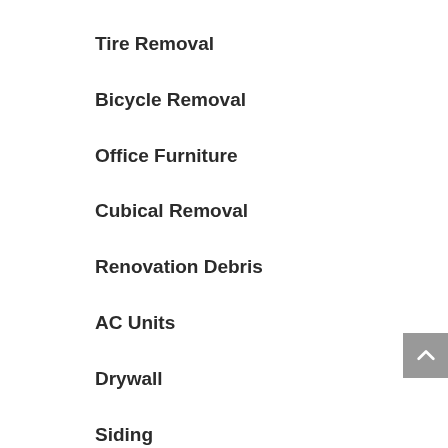Tire Removal
Bicycle Removal
Office Furniture
Cubical Removal
Renovation Debris
AC Units
Drywall
Siding
Windows & Doors